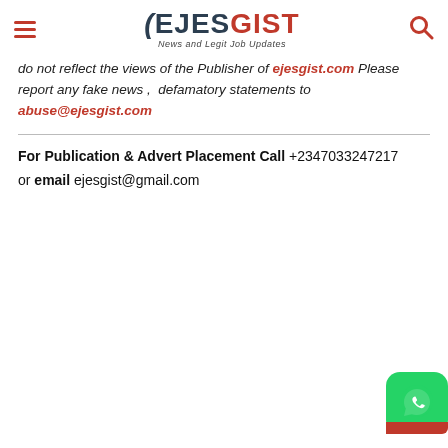EJESGIST — News and Legit Job Updates
do not reflect the views of the Publisher of ejesgist.com Please report any fake news ,  defamatory statements to abuse@ejesgist.com
For Publication & Advert Placement Call +2347033247217 or email ejesgist@gmail.com